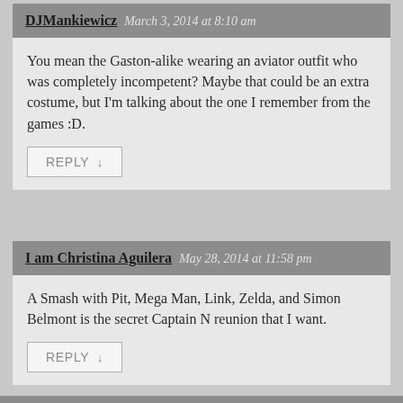DJMankiewicz  March 3, 2014 at 8:10 am
You mean the Gaston-alike wearing an aviator outfit who was completely incompetent? Maybe that could be an extra costume, but I'm talking about the one I remember from the games :D.
REPLY ↓
I am Christina Aguilera  May 28, 2014 at 11:58 pm
A Smash with Pit, Mega Man, Link, Zelda, and Simon Belmont is the secret Captain N reunion that I want.
REPLY ↓